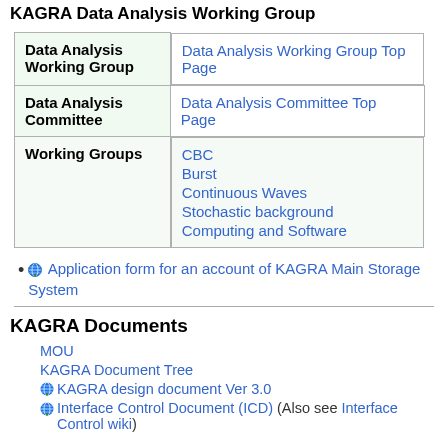KAGRA Data Analysis Working Group
|  |  |
| --- | --- |
| Data Analysis Working Group | Data Analysis Working Group Top Page |
| Data Analysis Committee | Data Analysis Committee Top Page |
| Working Groups | CBC
Burst
Continuous Waves
Stochastic background
Computing and Software |
Application form for an account of KAGRA Main Storage System
KAGRA Documents
MOU
KAGRA Document Tree
KAGRA design document Ver 3.0
Interface Control Document (ICD) (Also see Interface Control wiki)